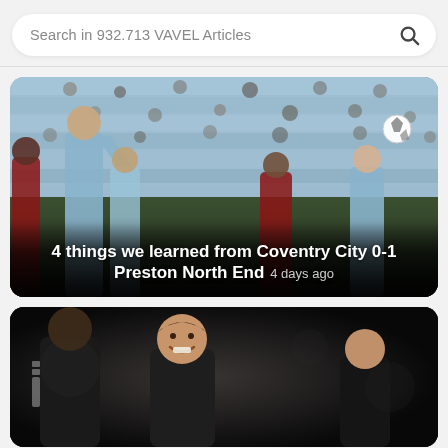Search in 932.713 VAVEL Articles
[Figure (photo): Football match photo showing Coventry City vs Preston North End players on the pitch with stadium seats in the background]
4 things we learned from Coventry City 0-1 Preston North End  4 days ago
[Figure (photo): Dark image showing football figures, possibly coaches or players smiling]